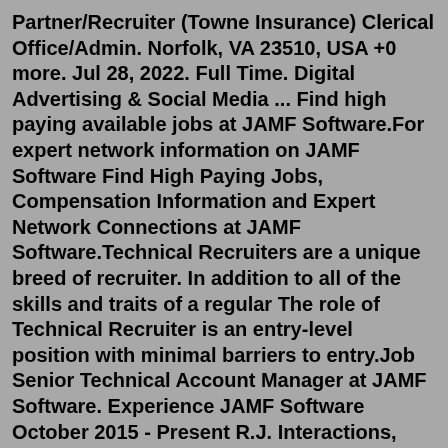Partner/Recruiter (Towne Insurance) Clerical Office/Admin. Norfolk, VA 23510, USA +0 more. Jul 28, 2022. Full Time. Digital Advertising & Social Media ... Find high paying available jobs at JAMF Software.For expert network information on JAMF Software Find High Paying Jobs, Compensation Information and Expert Network Connections at JAMF Software.Technical Recruiters are a unique breed of recruiter. In addition to all of the skills and traits of a regular The role of Technical Recruiter is an entry-level position with minimal barriers to entry.Job Senior Technical Account Manager at JAMF Software. Experience JAMF Software October 2015 - Present R.J. Interactions, LLC March 2010 - Present JAMF Software July 2014 - October 2015...Browse 293 JAMF ENGINEER Jobs ($69K-$139K) hiring now from companies with openings. MAC/JAMF Engineer - 4 months + @ onsite Santa Clara, CA The tasks involved in this effort include...job title Lead Technical Programme Manager...